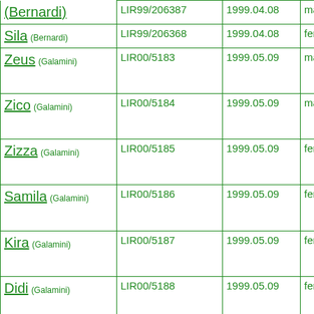| Name | LIR Number | Date | Sex | Color |
| --- | --- | --- | --- | --- |
| (Bernardi) | LIR99/206387 | 1999.04.08 | male | white |
| Sila (Bernardi) | LIR99/206368 | 1999.04.08 | female | brown |
| Zeus (Galamini) | LIR00/5183 | 1999.05.09 | male | white w orange |
| Zico (Galamini) | LIR00/5184 | 1999.05.09 | male | white w orange |
| Zizza (Galamini) | LIR00/5185 | 1999.05.09 | female | white w orange |
| Samila (Galamini) | LIR00/5186 | 1999.05.09 | female | white w orange |
| Kira (Galamini) | LIR00/5187 | 1999.05.09 | female | white w orange |
| Didi (Galamini) | LIR00/5188 | 1999.05.09 | female | white w orange |
| Onefarnie (Angelini Gia.) | LIR99/184873 | 1999.06.14 | male | white w brown |
| Reeff (Angelini Gia.) | LIR99/184874 | 1999.06.14 | male | white w orange |
| Seppone (Angelini Gia.) | LIR99/184875 SHSBA05182 | 1999.06.14 | male | white w orange |
| Tell (Angelini Gia.) | LIR99/184876 | 1999.06.14 | male | orange with... |